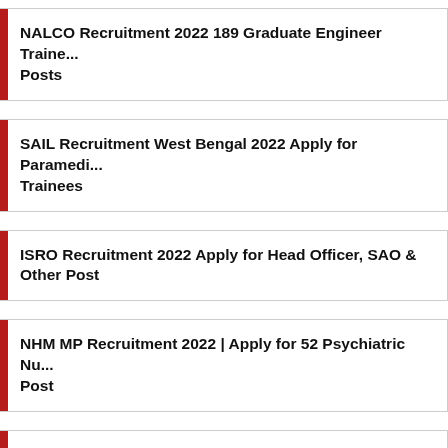NALCO Recruitment 2022 189 Graduate Engineer Trainee Posts
SAIL Recruitment West Bengal 2022 Apply for Paramedical Trainees
ISRO Recruitment 2022 Apply for Head Officer, SAO & Other Post
NHM MP Recruitment 2022 | Apply for 52 Psychiatric Nurse Post
HKRN Recruitment 2022 Apply for 482 Assistant Lineman Post
Tamil Nadu PSC Recruitment 2022 Apply for Field...